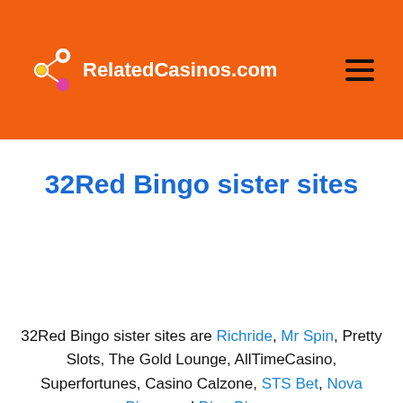RelatedCasinos.com
32Red Bingo sister sites
32Red Bingo sister sites are Richride, Mr Spin, Pretty Slots, The Gold Lounge, AllTimeCasino, Superfortunes, Casino Calzone, STS Bet, Nova Bingo and Dino Bingo.